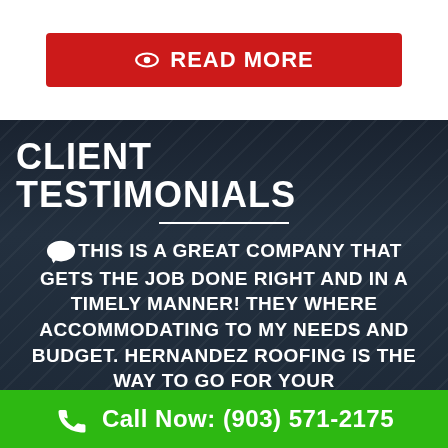[Figure (screenshot): Red READ MORE button with eye icon on white background]
CLIENT TESTIMONIALS
THIS IS A GREAT COMPANY THAT GETS THE JOB DONE RIGHT AND IN A TIMELY MANNER! THEY WHERE ACCOMMODATING TO MY NEEDS AND BUDGET. HERNANDEZ ROOFING IS THE WAY TO GO FOR YOUR
Call Now: (903) 571-2175